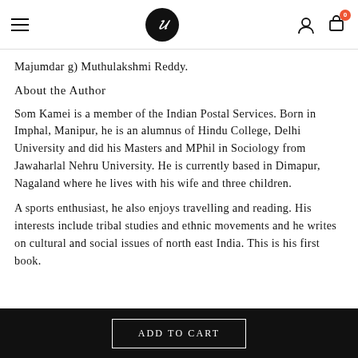Navigation bar with hamburger menu, logo U, user icon, and cart icon with badge 0
Majumdar g) Muthulakshmi Reddy.
About the Author
Som Kamei is a member of the Indian Postal Services. Born in Imphal, Manipur, he is an alumnus of Hindu College, Delhi University and did his Masters and MPhil in Sociology from Jawaharlal Nehru University. He is currently based in Dimapur, Nagaland where he lives with his wife and three children.
A sports enthusiast, he also enjoys travelling and reading. His interests include tribal studies and ethnic movements and he writes on cultural and social issues of north east India. This is his first book.
ADD TO CART